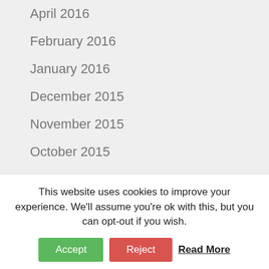April 2016
February 2016
January 2016
December 2015
November 2015
October 2015
September 2015
May 2015
April 2015
This website uses cookies to improve your experience. We'll assume you're ok with this, but you can opt-out if you wish.
Accept | Reject | Read More